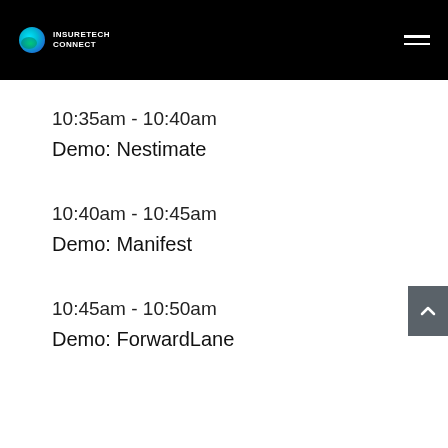INSURETECH CONNECT
10:35am - 10:40am
Demo: Nestimate
10:40am - 10:45am
Demo: Manifest
10:45am - 10:50am
Demo: ForwardLane